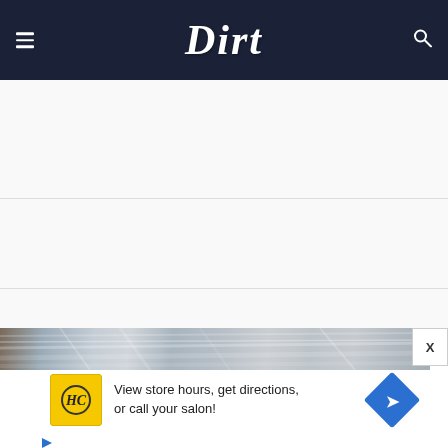Dirt
[Figure (screenshot): Dirt website header/navigation bar with dark navy background, hamburger menu icon on left, stylized 'Dirt' script logo in center, search icon on right]
[Figure (screenshot): Advertisement banner showing metallic streaked background strip with 'HC' yellow logo box, text 'View store hours, get directions, or call your salon!' with blue diamond navigation arrow button]
View store hours, get directions, or call your salon!